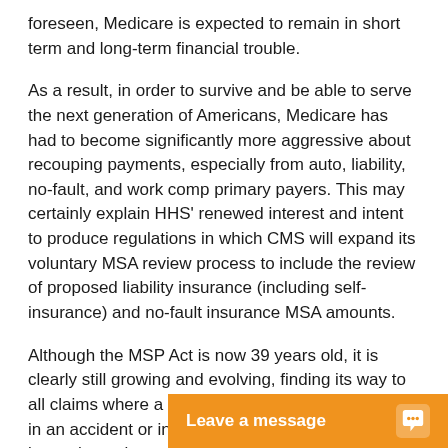foreseen, Medicare is expected to remain in short term and long-term financial trouble.
As a result, in order to survive and be able to serve the next generation of Americans, Medicare has had to become significantly more aggressive about recouping payments, especially from auto, liability, no-fault, and work comp primary payers. This may certainly explain HHS' renewed interest and intent to produce regulations in which CMS will expand its voluntary MSA review process to include the review of proposed liability insurance (including self-insurance) and no-fault insurance MSA amounts.
Although the MSP Act is now 39 years old, it is clearly still growing and evolving, finding its way to all claims where a Medicare beneficiary is involved in an accident or incident where a primary payer is involved and its reach continues to spre...